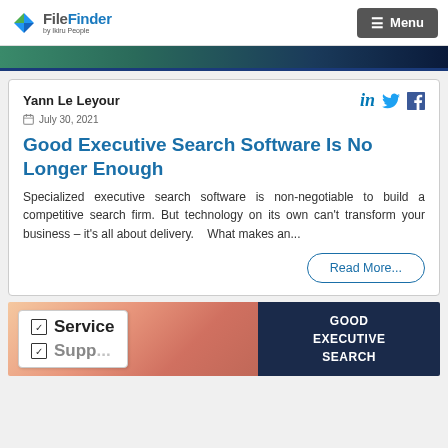FileFinder by Ikiru People — Menu
[Figure (photo): Dark teal/navy hero banner image strip at top of page]
Yann Le Leyour
July 30, 2021
Good Executive Search Software Is No Longer Enough
Specialized executive search software is non-negotiable to build a competitive search firm. But technology on its own can't transform your business – it's all about delivery.    What makes an...
Read More...
[Figure (photo): Bottom strip with two sections: left photo showing a Service checklist card, right dark navy panel with text GOOD EXECUTIVE SEARCH]